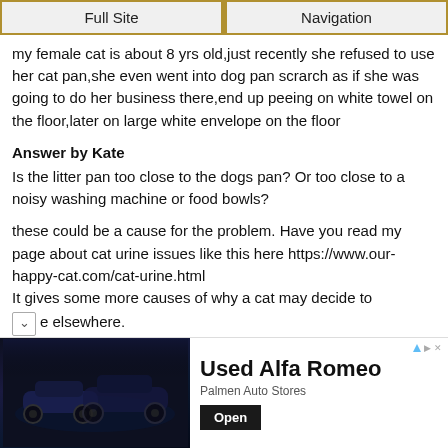Full Site | Navigation
my female cat is about 8 yrs old,just recently she refused to use her cat pan,she even went into dog pan scrarch as if she was going to do her business there,end up peeing on white towel on the floor,later on large white envelope on the floor
Answer by Kate
Is the litter pan too close to the dogs pan? Or too close to a noisy washing machine or food bowls?
these could be a cause for the problem. Have you read my page about cat urine issues like this here https://www.our-happy-cat.com/cat-urine.html
It gives some more causes of why a cat may decide to go elsewhere.
[Figure (screenshot): Advertisement banner for Used Alfa Romeo at Palmen Auto Stores with image of dark-colored cars and Open button]